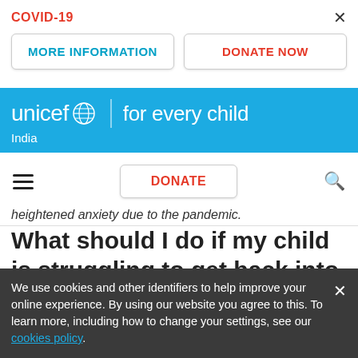COVID-19
MORE INFORMATION
DONATE NOW
[Figure (logo): UNICEF logo with globe icon and tagline 'for every child', India subheading, on cyan/blue background]
DONATE
heightened anxiety due to the pandemic.
What should I do if my child is struggling to get back into “school mode?”
We use cookies and other identifiers to help improve your online experience. By using our website you agree to this. To learn more, including how to change your settings, see our cookies policy.